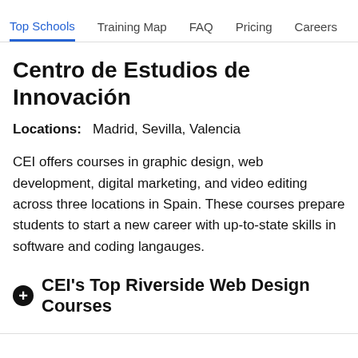Top Schools | Training Map | FAQ | Pricing | Careers
Centro de Estudios de Innovación
Locations: Madrid, Sevilla, Valencia
CEI offers courses in graphic design, web development, digital marketing, and video editing across three locations in Spain. These courses prepare students to start a new career with up-to-state skills in software and coding langauges.
CEI's Top Riverside Web Design Courses